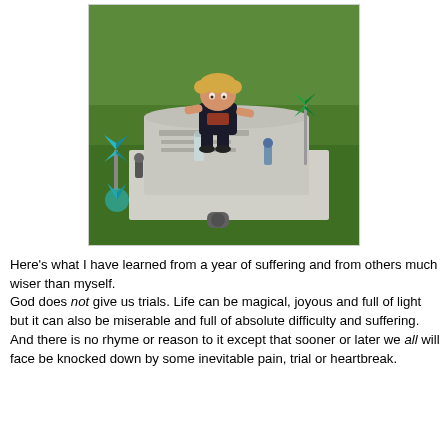[Figure (photo): A young toddler with curly blond hair wearing a dark t-shirt, sitting on top of a gravestone/headstone marker in a cemetery. The grave is decorated with various small items including pinwheels, small statues, and other memorial objects. Green grass surrounds the gravestone. The photo is taken in bright daylight.]
Here's what I have learned from a year of suffering and from others much wiser than myself.
God does not give us trials. Life can be magical, joyous and full of light but it can also be miserable and full of absolute difficulty and suffering. And there is no rhyme or reason to it except that sooner or later we all will face be knocked down by some inevitable pain, trial or heartbreak.